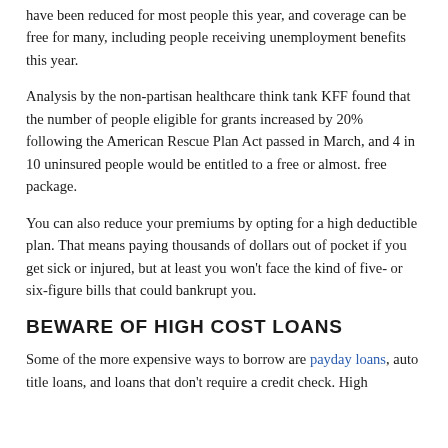have been reduced for most people this year, and coverage can be free for many, including people receiving unemployment benefits this year.
Analysis by the non-partisan healthcare think tank KFF found that the number of people eligible for grants increased by 20% following the American Rescue Plan Act passed in March, and 4 in 10 uninsured people would be entitled to a free or almost. free package.
You can also reduce your premiums by opting for a high deductible plan. That means paying thousands of dollars out of pocket if you get sick or injured, but at least you won't face the kind of five- or six-figure bills that could bankrupt you.
BEWARE OF HIGH COST LOANS
Some of the more expensive ways to borrow are payday loans, auto title loans, and loans that don't require a credit check. High